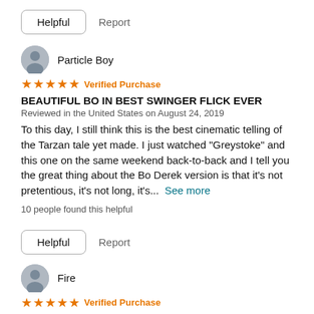Helpful  Report
Particle Boy
★★★★★ Verified Purchase
BEAUTIFUL BO IN BEST SWINGER FLICK EVER
Reviewed in the United States on August 24, 2019
To this day, I still think this is the best cinematic telling of the Tarzan tale yet made. I just watched "Greystoke" and this one on the same weekend back-to-back and I tell you the great thing about the Bo Derek version is that it's not pretentious, it's not long, it's...  See more
10 people found this helpful
Helpful  Report
Fire
★★★★★ Verified Purchase
Tarzan as I always envisioned him